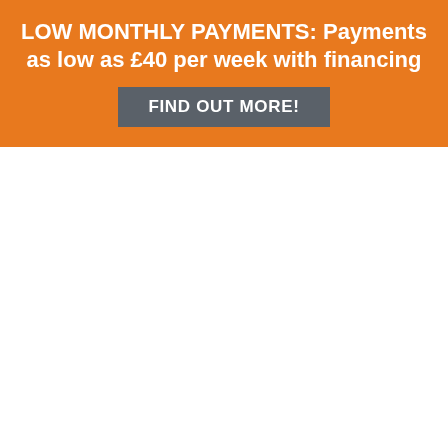LOW MONTHLY PAYMENTS: Payments as low as £40 per week with financing
FIND OUT MORE!